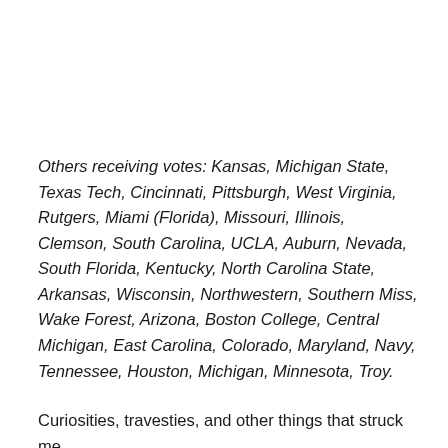Others receiving votes: Kansas, Michigan State, Texas Tech, Cincinnati, Pittsburgh, West Virginia, Rutgers, Miami (Florida), Missouri, Illinois, Clemson, South Carolina, UCLA, Auburn, Nevada, South Florida, Kentucky, North Carolina State, Arkansas, Wisconsin, Northwestern, Southern Miss, Wake Forest, Arizona, Boston College, Central Michigan, East Carolina, Colorado, Maryland, Navy, Tennessee, Houston, Michigan, Minnesota, Troy.
Curiosities, travesties, and other things that struck me